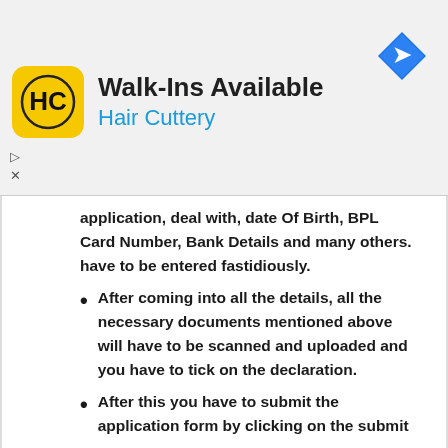[Figure (advertisement): Hair Cuttery Walk-Ins Available advertisement banner with yellow HC logo and blue navigation arrow icon]
application, deal with, date Of Birth, BPL Card Number, Bank Details and many others. have to be entered fastidiously.
After coming into all the details, all the necessary documents mentioned above will have to be scanned and uploaded and you have to tick on the declaration.
After this you have to submit the application form by clicking on the submit